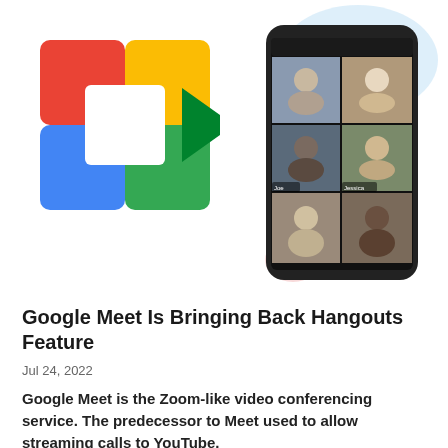[Figure (illustration): Google Meet logo (colorful camera icon with red, yellow, green, blue squares and a green play arrow) on left; smartphone screenshot showing a Google Meet video call grid with 6 participants on right]
Google Meet Is Bringing Back Hangouts Feature
Jul 24, 2022
Google Meet is the Zoom-like video conferencing service. The predecessor to Meet used to allow streaming calls to YouTube.
[Figure (screenshot): Thumbnail showing iCloud Passwords for Windows interface]
ICloud Passwords For Windows Now